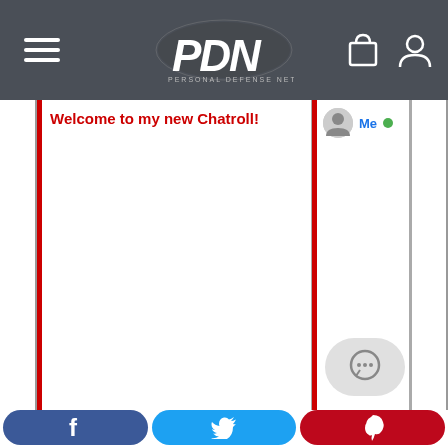[Figure (screenshot): PDN Personal Defense Network website header with hamburger menu, PDN logo, shopping bag and user account icons on dark gray background]
Welcome to my new Chatroll!
Me
[Figure (other): Chat bubble / message icon button in gray rounded rectangle]
[Figure (other): Social share buttons: Facebook (blue), Twitter (cyan), Pinterest (red)]